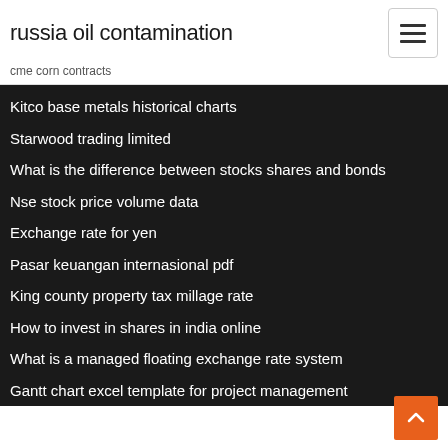russia oil contamination
cme corn contracts
Kitco base metals historical charts
Starwood trading limited
What is the difference between stocks shares and bonds
Nse stock price volume data
Exchange rate for yen
Pasar keuangan internasional pdf
King county property tax millage rate
How to invest in shares in india online
What is a managed floating exchange rate system
Gantt chart excel template for project management